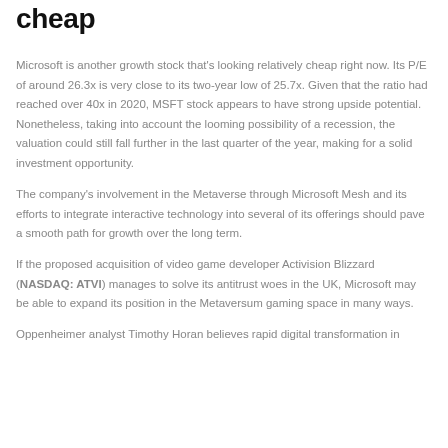cheap
Microsoft is another growth stock that's looking relatively cheap right now. Its P/E of around 26.3x is very close to its two-year low of 25.7x. Given that the ratio had reached over 40x in 2020, MSFT stock appears to have strong upside potential. Nonetheless, taking into account the looming possibility of a recession, the valuation could still fall further in the last quarter of the year, making for a solid investment opportunity.
The company's involvement in the Metaverse through Microsoft Mesh and its efforts to integrate interactive technology into several of its offerings should pave a smooth path for growth over the long term.
If the proposed acquisition of video game developer Activision Blizzard (NASDAQ: ATVI) manages to solve its antitrust woes in the UK, Microsoft may be able to expand its position in the Metaversum gaming space in many ways.
Oppenheimer analyst Timothy Horan believes rapid digital transformation in